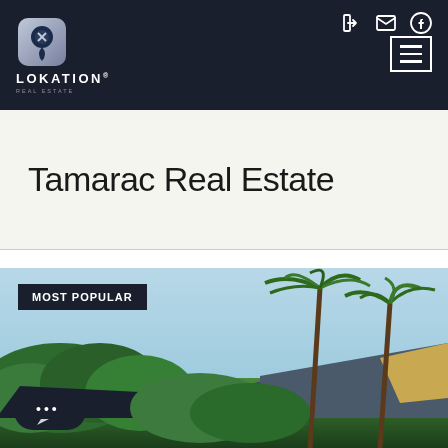LOKATION® REAL ESTATE — navigation header with logo, login, mail, facebook icons and hamburger menu
Tamarac Real Estate
[Figure (photo): Photo of a tropical house or building with palm trees, lush green vegetation, a dark canopy/awning, and a partial roofline. A 'MOST POPULAR' badge overlays the top-left of the image. A chat button appears at the bottom-left.]